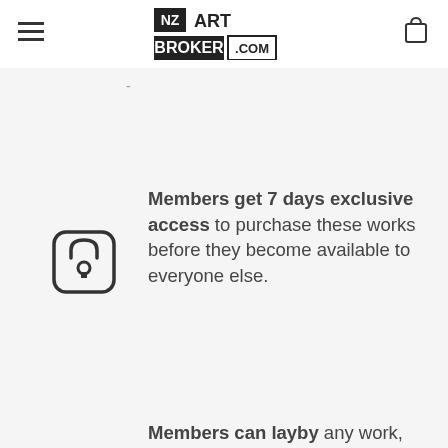NZ ART BROKER .COM
[Figure (logo): NZ Art Broker .com logo in black and white block text style]
Members get 7 days exclusive access to purchase these works before they become available to everyone else.
Members can layby any work, over a period of up to 6 months